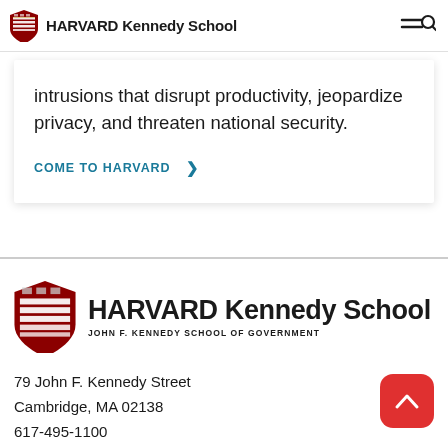HARVARD Kennedy School
intrusions that disrupt productivity, jeopardize privacy, and threaten national security.
COME TO HARVARD >
[Figure (logo): Harvard Kennedy School logo with shield and text - HARVARD Kennedy School, JOHN F. KENNEDY SCHOOL OF GOVERNMENT]
79 John F. Kennedy Street
Cambridge, MA 02138
617-495-1100